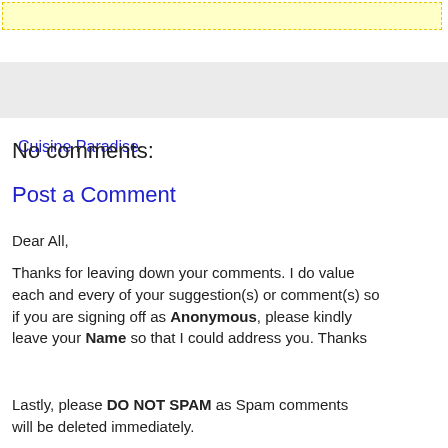[Figure (other): Yellow dashed-border box at top of page]
Cuisine Paradise
No comments:
Post a Comment
Dear All,
Thanks for leaving down your comments. I do value each and every of your suggestion(s) or comment(s) so if you are signing off as Anonymous, please kindly leave your Name so that I could address you. Thanks
Lastly, please DO NOT SPAM as Spam comments will be deleted immediately.